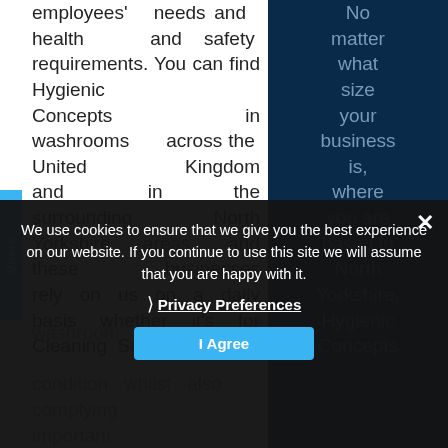employees' needs and health and safety requirements. You can find Hygienic Concepts in washrooms across the United Kingdom and in the surrounding North Yorkshire areas, and these businesses rely on us on a daily basis whether it's for Cleaning Supplies or washroom
No matter what size your business is, where you are based in North Yorkshire, Hygienic Concepts
condition whilst also complying important
We use cookies to ensure that we give you the best experience on our website. If you continue to use this site we will assume that you are happy with it.
Privacy Preferences
I Agree